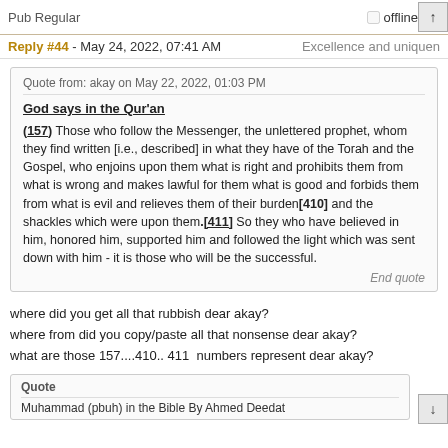Pub Regular | offline
Reply #44 - May 24, 2022, 07:41 AM | Excellence and uniquen
Quote from: akay on May 22, 2022, 01:03 PM

God says in the Qur'an

(157) Those who follow the Messenger, the unlettered prophet, whom they find written [i.e., described] in what they have of the Torah and the Gospel, who enjoins upon them what is right and prohibits them from what is wrong and makes lawful for them what is good and forbids them from what is evil and relieves them of their burden[410] and the shackles which were upon them.[411] So they who have believed in him, honored him, supported him and followed the light which was sent down with him - it is those who will be the successful.

End quote
where did you get all that rubbish dear akay?
where from did you copy/paste all that nonsense dear akay?
what are those 157....410.. 411  numbers represent dear akay?
Quote
Muhammad (pbuh) in the Bible By Ahmed Deedat